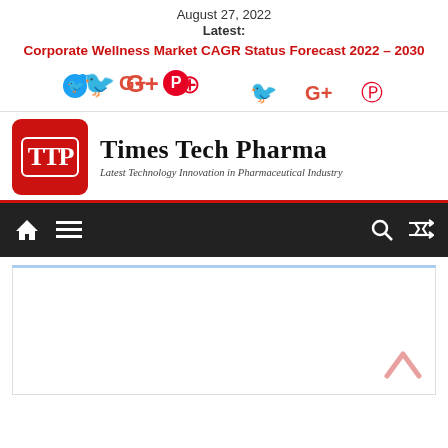August 27, 2022
Latest:
Corporate Wellness Market CAGR Status Forecast 2022 – 2030
[Figure (logo): Social media icons: Twitter (bird), Google Plus (G+), Pinterest (pin)]
[Figure (logo): Times Tech Pharma logo with TTP monogram in red box and brand name. Tagline: Latest Technology Innovation in Pharmaceutical Industry]
[Figure (screenshot): Dark navigation bar with home icon, hamburger menu, search icon, and shuffle icon on right. Red underline below.]
[Figure (other): White content area placeholder with a pink chevron/up-arrow in bottom right corner]